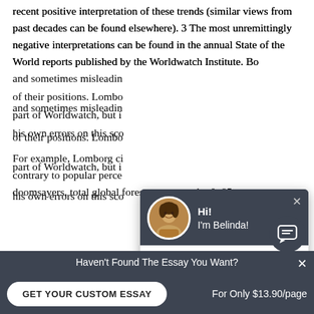recent positive interpretation of these trends (similar views from past decades can be found elsewhere). 3 The most unremittingly negative interpretations can be found in the annual State of the World reports published by the Worldwatch Institute. Bo[th books use selective and sometimes misleadin]g statistics to bolster the extremism of their positions. Lombo[rg devoted a chapter to attacking the work] part of Worldwatch, but i[n some ways he is guilty of] his own errors on this sco[re.]
For example, Lomborg cl[aimed that] contrary to popular perce[ption of environmental] doomsayers, total global forest cover rose by 0. 85 p[er cent]
[Figure (screenshot): Chat popup widget showing avatar of woman named Belinda with greeting 'Hi! I'm Belinda!' and message 'Would you like to get a custom essay? How about receiving a customized one?' with 'Check it out' link]
[Figure (screenshot): Chat icon button (speech bubble icon) in dark circle]
Haven't Found The Essay You Want? GET YOUR CUSTOM ESSAY  For Only $13.90/page